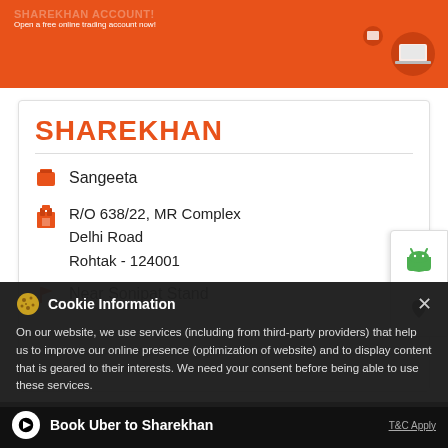[Figure (screenshot): Sharekhan website banner with orange background and illustration of laptop/coffee]
Open a free online trading account now!
SHAREKHAN
Sangeeta
R/O 638/22, MR Complex
Delhi Road
Rohtak - 124001
Near Sonipat Stand
[Figure (screenshot): Android and Apple app store icon side tab]
Cookie Information
On our website, we use services (including from third-party providers) that help us to improve our online presence (optimization of website) and to display content that is geared to their interests. We need your consent before being able to use these services.
Book Uber to Sharekhan
T&C Apply